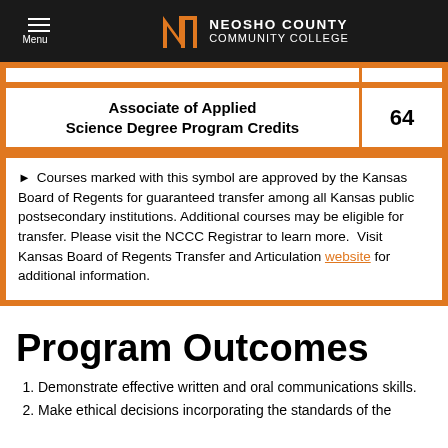Menu | Neosho County Community College
|  |  |
| --- | --- |
| Associate of Applied Science Degree Program Credits | 64 |
Courses marked with this symbol are approved by the Kansas Board of Regents for guaranteed transfer among all Kansas public postsecondary institutions. Additional courses may be eligible for transfer. Please visit the NCCC Registrar to learn more. Visit Kansas Board of Regents Transfer and Articulation website for additional information.
Program Outcomes
Demonstrate effective written and oral communications skills.
Make ethical decisions incorporating the standards of the